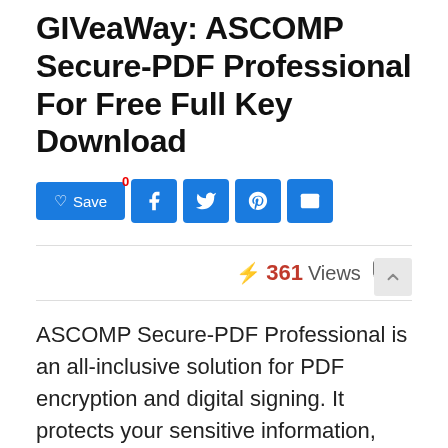GIVeaWay: ASCOMP Secure-PDF Professional For Free Full Key Download
[Figure (screenshot): Social sharing bar with Save button (blue with heart icon and 0 badge), Facebook, Twitter, Pinterest, and Email blue icon buttons]
361 Views  0
ASCOMP Secure-PDF Professional is an all-inclusive solution for PDF encryption and digital signing. It protects your sensitive information, such as bank account numbers and credit card data, from being